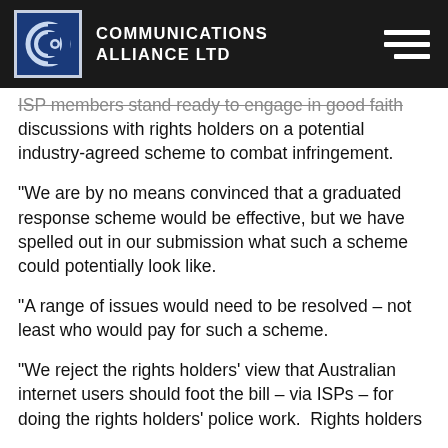COMMUNICATIONS ALLIANCE LTD
ISP members stand ready to engage in good faith discussions with rights holders on a potential industry-agreed scheme to combat infringement.
“We are by no means convinced that a graduated response scheme would be effective, but we have spelled out in our submission what such a scheme could potentially look like.
“A range of issues would need to be resolved – not least who would pay for such a scheme.
“We reject the rights holders’ view that Australian internet users should foot the bill – via ISPs – for doing the rights holders’ police work.  Rights holders